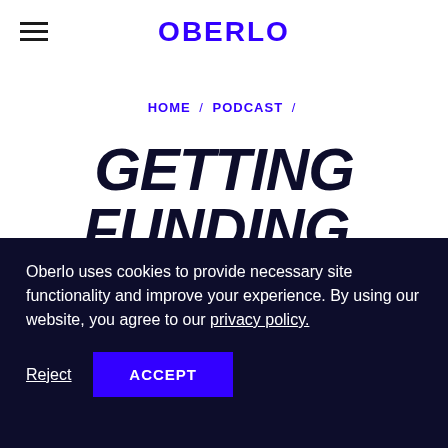OBERLO
HOME / PODCAST /
GETTING FUNDING, CHANGING LIVES AND BLOWING UP ON
Oberlo uses cookies to provide necessary site functionality and improve your experience. By using our website, you agree to our privacy policy.
Reject  ACCEPT